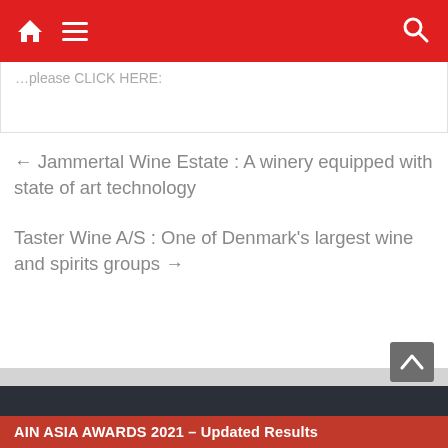Navigation bar with home, menu, and search icons
please CLICK HERE:
← Jammertal Wine Estate : A winery equipped with state of art technology
Taster Wine A/S : One of Denmark's largest wine and spirits groups →
AIN ASIA AWARDS 2021 – Updated Results